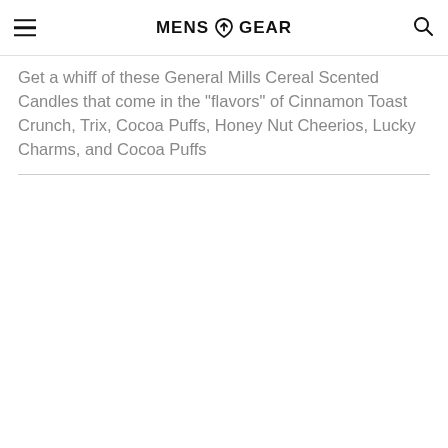MENS GEAR
Get a whiff of these General Mills Cereal Scented Candles that come in the "flavors" of Cinnamon Toast Crunch, Trix, Cocoa Puffs, Honey Nut Cheerios, Lucky Charms, and Cocoa Puffs